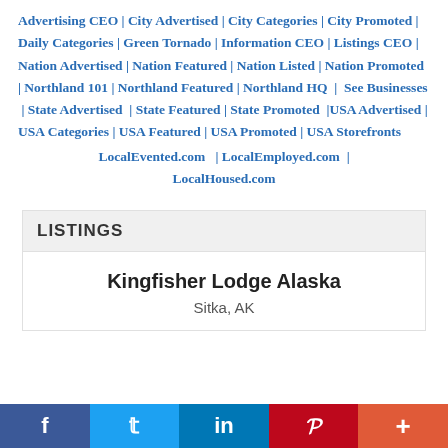Advertising CEO | City Advertised | City Categories | City Promoted | Daily Categories | Green Tornado | Information CEO | Listings CEO | Nation Advertised | Nation Featured | Nation Listed | Nation Promoted | Northland 101 | Northland Featured | Northland HQ | See Businesses | State Advertised | State Featured | State Promoted |USA Advertised | USA Categories | USA Featured | USA Promoted | USA Storefronts LocalEvented.com | LocalEmployed.com | LocalHoused.com
LISTINGS
Kingfisher Lodge Alaska
Sitka, AK